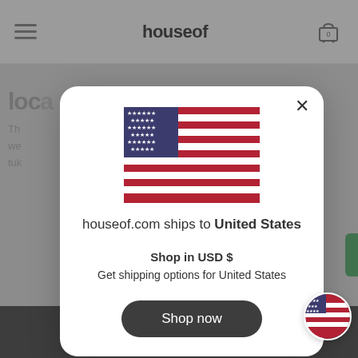houseof
[Figure (screenshot): Website screenshot showing houseof.com with a modal popup dialog for country/currency selection. The modal features a US flag, text 'houseof.com ships to United States', 'Shop in USD $', 'Get shipping options for United States', and a 'Shop now' button. Background shows a gray website layout with hamburger menu and cart icon.]
houseof.com ships to United States
Shop in USD $
Get shipping options for United States
Shop now